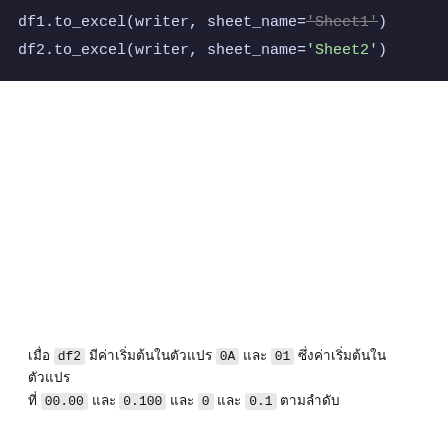[Figure (screenshot): Code block on dark background showing two lines: df1.to_excel(writer, sheet_name='Sheet1') with strikethrough on 'Sheet1', and df2.to_excel(writer, sheet_name='Sheet2')]
เมื่อ df2 มีค่าเริ่มต้นในตัวแปร 0A และ 01 ซึ่งค่าเริ่มต้นในตัวแปร ที่ 00.00 และ 0.100 และ 0 และ 0.1 ตามลำดับ